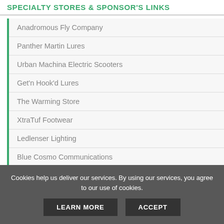SPECIALTY STORES & SPONSOR'S LINKS
Anadromous Fly Company
Panther Martin Lures
Urban Machina Electric Scooters
Get'n Hook'd Lures
The Warming Store
XtraTuf Footwear
Ledlenser Lighting
Blue Cosmo Communications
Cookies help us deliver our services. By using our services, you agree to our use of cookies.
LEARN MORE  ACCEPT